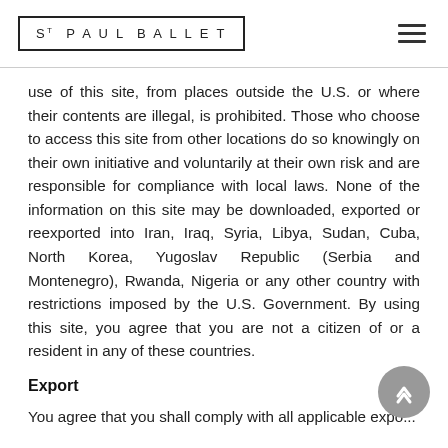ST PAUL BALLET
use of this site, from places outside the U.S. or where their contents are illegal, is prohibited. Those who choose to access this site from other locations do so knowingly on their own initiative and voluntarily at their own risk and are responsible for compliance with local laws. None of the information on this site may be downloaded, exported or reexported into Iran, Iraq, Syria, Libya, Sudan, Cuba, North Korea, Yugoslav Republic (Serbia and Montenegro), Rwanda, Nigeria or any other country with restrictions imposed by the U.S. Government. By using this site, you agree that you are not a citizen of or a resident in any of these countries.
Export
You agree that you shall comply with all applicable expo...